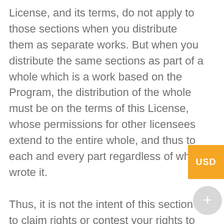License, and its terms, do not apply to those sections when you distribute them as separate works. But when you distribute the same sections as part of a whole which is a work based on the Program, the distribution of the whole must be on the terms of this License, whose permissions for other licensees extend to the entire whole, and thus to each and every part regardless of who wrote it.
Thus, it is not the intent of this section to claim rights or contest your rights to work written entirely by you; rather, the intent is to exercise the right to control the distribution of derivative or collective works based on the Program.
In addition, mere aggregation of another work